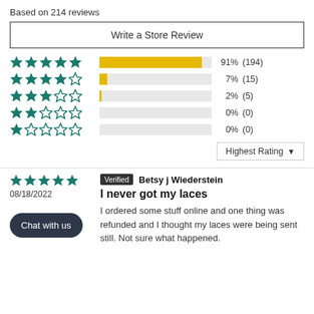Based on 214 reviews
Write a Store Review
[Figure (bar-chart): Star rating distribution]
Highest Rating ▼
08/18/2022
Verified  Betsy j Wiederstein
I never got my laces
I ordered some stuff online and one thing was refunded and I thought my laces were being sent still. Not sure what happened.
Chat with us